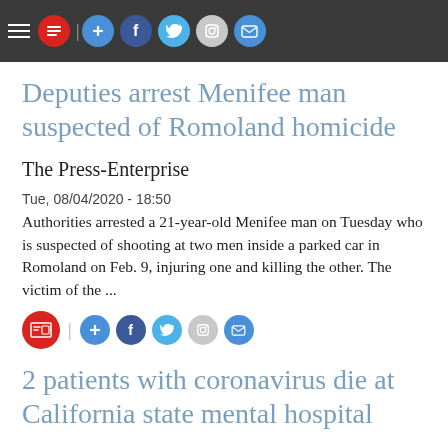Menu | Share on AddThis | Share on Facebook | Share on Twitter | Share on Instagram | Share via Email
Deputies arrest Menifee man suspected of Romoland homicide
The Press-Enterprise
Tue, 08/04/2020 - 18:50
Authorities arrested a 21-year-old Menifee man on Tuesday who is suspected of shooting at two men inside a parked car in Romoland on Feb. 9, injuring one and killing the other. The victim of the ...
2 patients with coronavirus die at California state mental hospital
Los Angeles Times
Tue, 08/04/2020 - 17:37